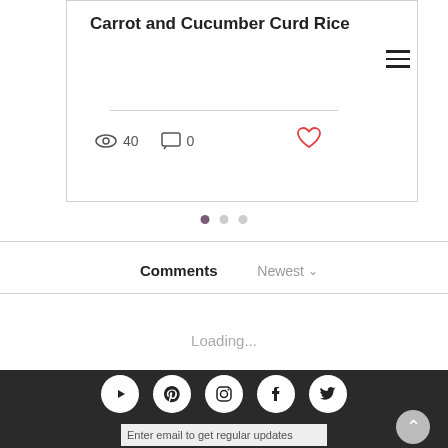Carrot and Cucumber Curd Rice
40  0
[Figure (other): Carousel navigation dots: one filled purple dot and two light grey dots]
Comments   Newest
Loading...
[Figure (other): Dark footer bar with five social media icons in white circles: YouTube, Pinterest, Instagram, Facebook, Twitter]
Enter email to get regular updates